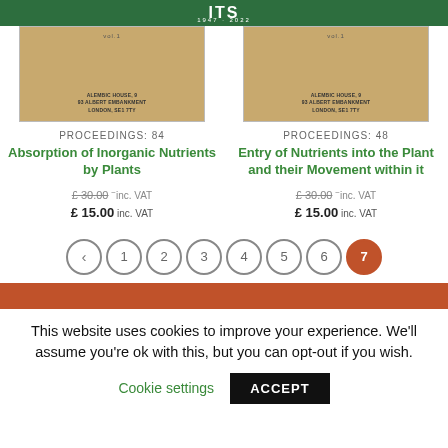ITS 1947-2022
[Figure (illustration): Book cover thumbnail for Proceedings 84 - Absorption of Inorganic Nutrients by Plants, tan/brown cover with publisher address]
PROCEEDINGS: 84
Absorption of Inorganic Nutrients by Plants
£ 30.00 inc. VAT  £ 15.00 inc. VAT
[Figure (illustration): Book cover thumbnail for Proceedings 48 - Entry of Nutrients into the Plant and their Movement within it, tan/brown cover with publisher address]
PROCEEDINGS: 48
Entry of Nutrients into the Plant and their Movement within it
£ 30.00 inc. VAT  £ 15.00 inc. VAT
< 1 2 3 4 5 6 7
This website uses cookies to improve your experience. We'll assume you're ok with this, but you can opt-out if you wish.
Cookie settings  ACCEPT